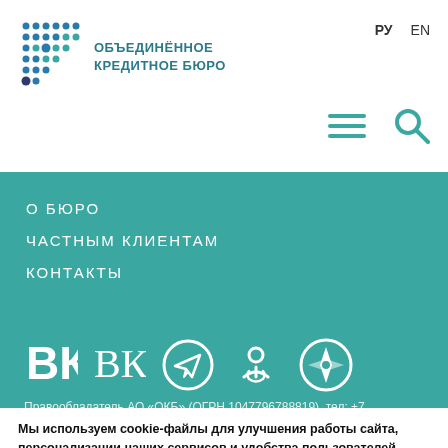[Figure (logo): Объединённое кредитное бюро logo with dot pattern and teal text]
РУ  EN
О БЮРО
ЧАСТНЫМ КЛИЕНТАМ
КОНТАКТЫ
[Figure (illustration): Social media icons: VK, Telegram, Odnoklassniki, and a compass/navigation icon — white on teal]
Правообладатель АО «ОКБ» (ОГРН 1047796788819), тел: +7
Мы используем cookie-файлы для улучшения работы сайта, персонализации наших сервисов и удобства пользователей. Продолжая работать с данным сайтом, вы даете согласие на обработку данных в соответствии с условиями и принципами АО «ОКБ».